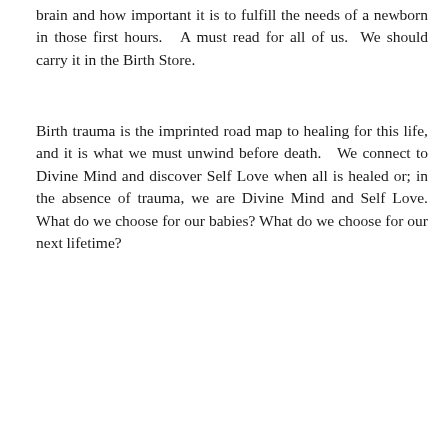brain and how important it is to fulfill the needs of a newborn in those first hours.  A must read for all of us.  We should carry it in the Birth Store.
Birth trauma is the imprinted road map to healing for this life, and it is what we must unwind before death.  We connect to Divine Mind and discover Self Love when all is healed or; in the absence of trauma, we are Divine Mind and Self Love. What do we choose for our babies? What do we choose for our next lifetime?